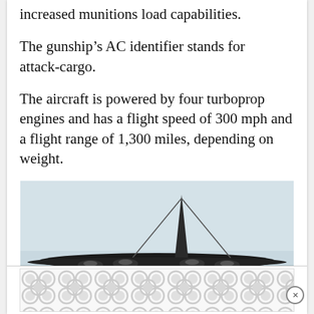increased munitions load capabilities.
The gunship's AC identifier stands for attack-cargo.
The aircraft is powered by four turboprop engines and has a flight speed of 300 mph and a flight range of 1,300 miles, depending on weight.
[Figure (photo): Aerial photograph of a large military turboprop aircraft (likely an AC-130 gunship) viewed from below/side, showing the fuselage, wings, and tail against a pale grey sky.]
[Figure (other): Advertisement banner with repeating circular bubble/dot pattern in grey and white.]